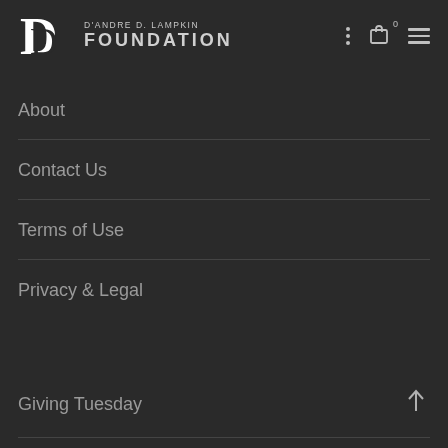D'ANDRE D. LAMPKIN FOUNDATION
About
Contact Us
Terms of Use
Privacy & Legal
Giving Tuesday